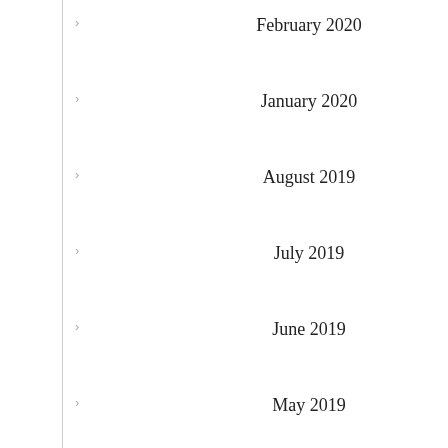February 2020
January 2020
August 2019
July 2019
June 2019
May 2019
April 2019
March 2019
February 2019
January 2019
December 2018
November 2018